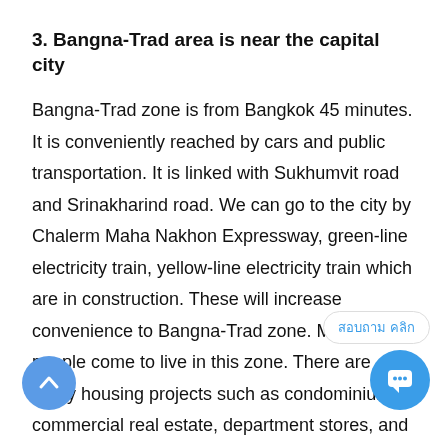3. Bangna-Trad area is near the capital city
Bangna-Trad zone is from Bangkok 45 minutes. It is conveniently reached by cars and public transportation. It is linked with Sukhumvit road and Srinakharind road. We can go to the city by Chalerm Maha Nakhon Expressway, green-line electricity train, yellow-line electricity train which are in construction. These will increase convenience to Bangna-Trad zone. More people come to live in this zone. There are many housing projects such as condominiums, commercial real estate, department stores, and community malls. This leads to be easier for staffs and workers in